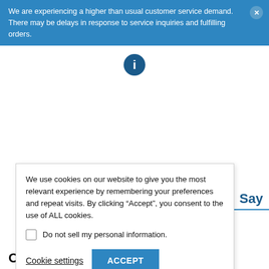We are experiencing a higher than usual customer service demand. There may be delays in response to service inquiries and fulfilling orders.
[Figure (logo): Circular logo with letter H in white on dark blue background]
We use cookies on our website to give you the most relevant experience by remembering your preferences and repeat visits. By clicking “Accept”, you consent to the use of ALL cookies.
Do not sell my personal information.
Cookie settings
ACCEPT
Say
Overall Rating